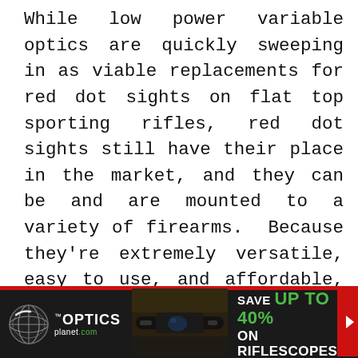While low power variable optics are quickly sweeping in as viable replacements for red dot sights on flat top sporting rifles, red dot sights still have their place in the market, and they can be and are mounted to a variety of firearms. Because they're extremely versatile, easy to use, and affordable, red dots are not going anywhere any time soon.
[Figure (infographic): OpticsPlanet.com advertisement banner with globe logo, scope photo, and text reading 'SAVE UP TO 40% ON RIFLESCOPES' with a red arrow]